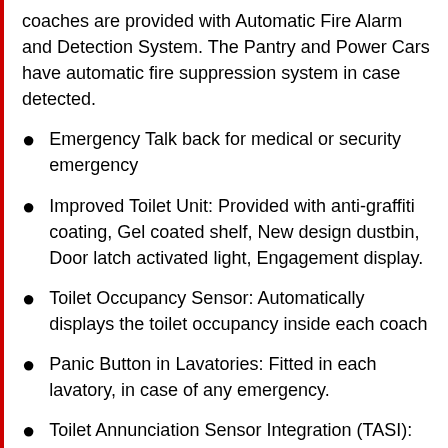coaches are provided with Automatic Fire Alarm and Detection System. The Pantry and Power Cars have automatic fire suppression system in case detected.
Emergency Talk back for medical or security emergency
Improved Toilet Unit: Provided with anti-graffiti coating, Gel coated shelf, New design dustbin, Door latch activated light, Engagement display.
Toilet Occupancy Sensor: Automatically displays the toilet occupancy inside each coach
Panic Button in Lavatories: Fitted in each lavatory, in case of any emergency.
Toilet Annunciation Sensor Integration (TASI): Two